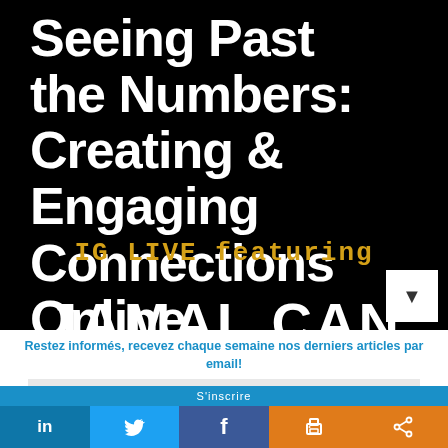[Figure (illustration): Black background banner image showing white bold text 'Seeing Past the Numbers: Creating & Engaging Connections Online', with gold/orange text 'IG LIVE featuring' below, and partial white text at the bottom. A white scroll-down button with triangle arrow appears in the lower right.]
Restez informés, recevez chaque semaine nos derniers articles par email!
Votre adresse...
in  [LinkedIn]  [Twitter]  [Facebook]  [Print]  [Share]